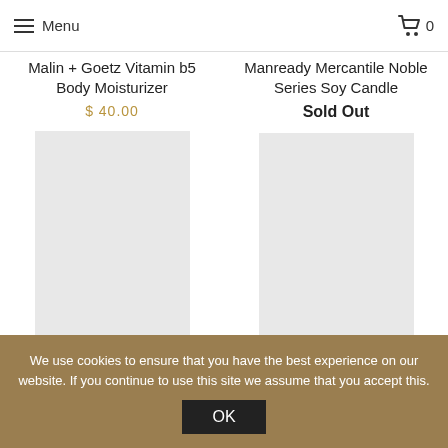Menu | 0
Malin + Goetz Vitamin b5 Body Moisturizer
$ 40.00
Manready Mercantile Noble Series Soy Candle
Sold Out
[Figure (photo): Product image placeholder (light gray rectangle) for Malin + Goetz Vitamin b5 Body Moisturizer]
[Figure (photo): Product image placeholder (light gray rectangle) for Manready Mercantile Noble Series Soy Candle]
We use cookies to ensure that you have the best experience on our website. If you continue to use this site we assume that you accept this. OK